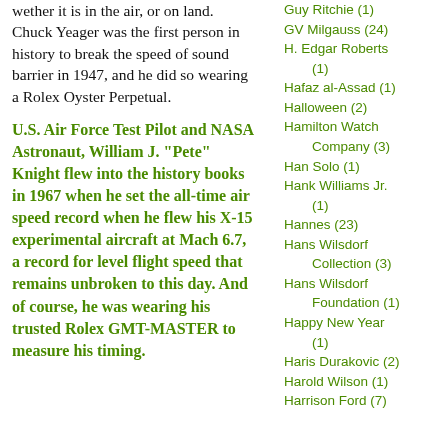wether it is in the air, or on land. Chuck Yeager was the first person in history to break the speed of sound barrier in 1947, and he did so wearing a Rolex Oyster Perpetual.
U.S. Air Force Test Pilot and NASA Astronaut, William J. "Pete" Knight flew into the history books in 1967 when he set the all-time air speed record when he flew his X-15 experimental aircraft at Mach 6.7, a record for level flight speed that remains unbroken to this day. And of course, he was wearing his trusted Rolex GMT-MASTER to measure his timing.
Guy Ritchie (1)
GV Milgauss (24)
H. Edgar Roberts (1)
Hafaz al-Assad (1)
Halloween (2)
Hamilton Watch Company (3)
Han Solo (1)
Hank Williams Jr. (1)
Hannes (23)
Hans Wilsdorf Collection (3)
Hans Wilsdorf Foundation (1)
Happy New Year (1)
Haris Durakovic (2)
Harold Wilson (1)
Harrison Ford (7)